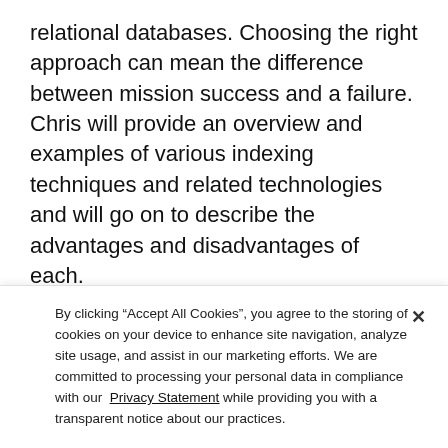relational databases. Choosing the right approach can mean the difference between mission success and a failure. Chris will provide an overview and examples of various indexing techniques and related technologies and will go on to describe the advantages and disadvantages of each.
The 2009 DoDIIS Worldwide Conference is a dynamic and educational five-day conference that will showcase new and emerging technologies. The technology exposition will continue its reputation
By clicking “Accept All Cookies”, you agree to the storing of cookies on your device to enhance site navigation, analyze site usage, and assist in our marketing efforts. We are committed to processing your personal data in compliance with our Privacy Statement while providing you with a transparent notice about our practices.